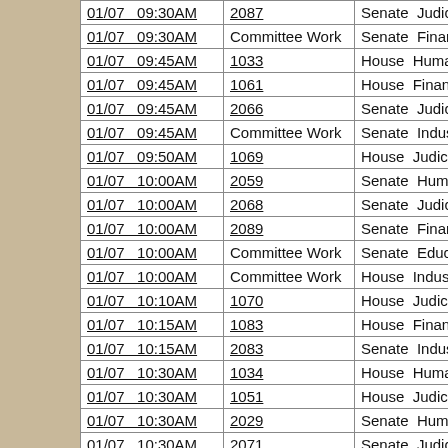| Date/Time | Bill/Type | Chamber Committee |
| --- | --- | --- |
| 01/07  09:30AM | 2087 | Senate  Judiciary |
| 01/07  09:30AM | Committee Work | Senate  Finance and Taxat |
| 01/07  09:45AM | 1033 | House  Human Services |
| 01/07  09:45AM | 1061 | House  Finance and Taxati |
| 01/07  09:45AM | 2066 | Senate  Judiciary |
| 01/07  09:45AM | Committee Work | Senate  Industry, Business |
| 01/07  09:50AM | 1069 | House  Judiciary |
| 01/07  10:00AM | 2059 | Senate  Human Services |
| 01/07  10:00AM | 2068 | Senate  Judiciary |
| 01/07  10:00AM | 2089 | Senate  Finance and Taxat |
| 01/07  10:00AM | Committee Work | Senate  Education |
| 01/07  10:00AM | Committee Work | House  Industry, Business |
| 01/07  10:10AM | 1070 | House  Judiciary |
| 01/07  10:15AM | 1083 | House  Finance and Taxati |
| 01/07  10:15AM | 2083 | Senate  Industry, Business |
| 01/07  10:30AM | 1034 | House  Human Services |
| 01/07  10:30AM | 1051 | House  Judiciary |
| 01/07  10:30AM | 2029 | Senate  Human Services |
| 01/07  10:30AM | 2071 | Senate  Judiciary |